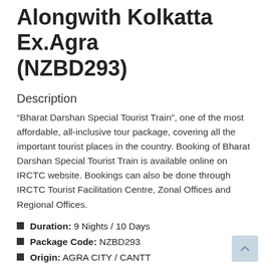Alongwith Kolkatta Ex.Agra (NZBD293)
Description
“Bharat Darshan Special Tourist Train”, one of the most affordable, all-inclusive tour package, covering all the important tourist places in the country. Booking of Bharat Darshan Special Tourist Train is available online on IRCTC website. Bookings can also be done through IRCTC Tourist Facilitation Centre, Zonal Offices and Regional Offices.
Duration: 9 Nights / 10 Days
Package Code: NZBD293
Origin: AGRA CITY / CANTT
Destination: AYODHYA / BAIDYANATH / GANGASAGAR / Gaya / KONARK / PURI / VARANASI